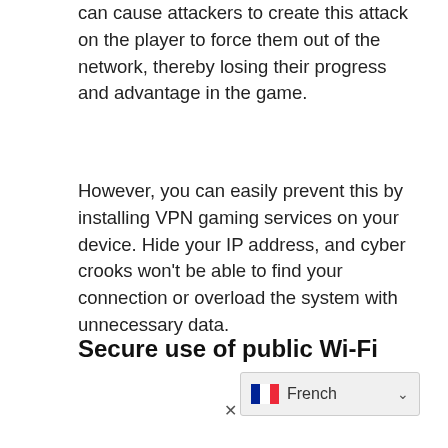The positive game dynamics and getting a big hit can cause attackers to create this attack on the player to force them out of the network, thereby losing their progress and advantage in the game.
However, you can easily prevent this by installing VPN gaming services on your device. Hide your IP address, and cyber crooks won't be able to find your connection or overload the system with unnecessary data.
Secure use of public Wi-Fi